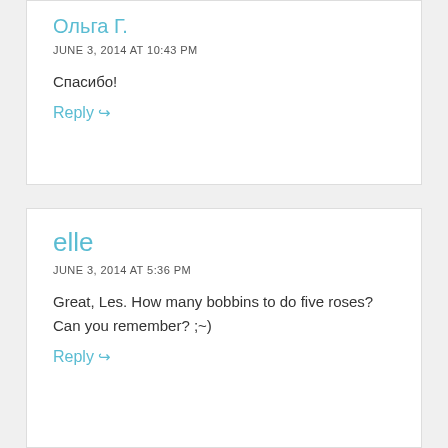Ольга Г.
JUNE 3, 2014 AT 10:43 PM
Спасибо!
Reply ↩
elle
JUNE 3, 2014 AT 5:36 PM
Great, Les. How many bobbins to do five roses? Can you remember? ;~)
Reply ↩